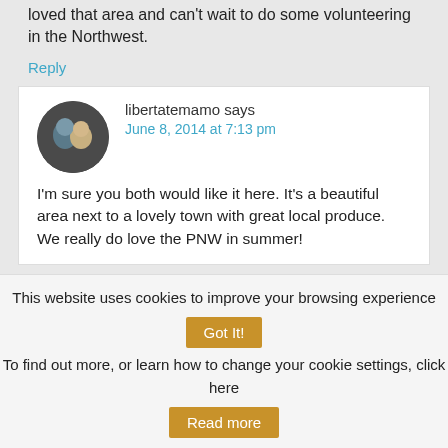loved that area and can't wait to do some volunteering in the Northwest.
Reply
libertatemamo says
June 8, 2014 at 7:13 pm
[Figure (photo): Circular avatar photo of two people]
I'm sure you both would like it here. It's a beautiful area next to a lovely town with great local produce. We really do love the PNW in summer!
This website uses cookies to improve your browsing experience
Got It!
To find out more, or learn how to change your cookie settings, click here
Read more